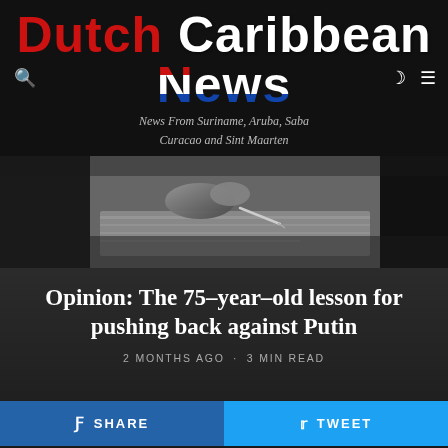Dutch Caribbean News — News From Suriname, Aruba, Saba Curacao and Sint Maarten
[Figure (photo): Black and white close-up photo of hands writing or signing a document with a pen on paper]
Opinion: The 75-year-old lesson for pushing back against Putin
2 MONTHS AGO · 3 MIN READ
SHARE  TWEET